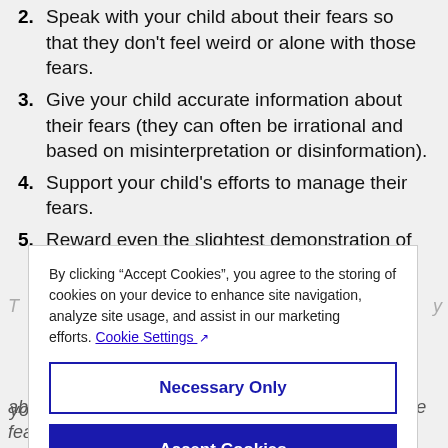2. Speak with your child about their fears so that they don't feel weird or alone with those fears.
3. Give your child accurate information about their fears (they can often be irrational and based on misinterpretation or disinformation).
4. Support your child's efforts to manage their fears.
5. Reward even the slightest demonstration of courage.
By clicking “Accept Cookies”, you agree to the storing of cookies on your device to enhance site navigation, analyze site usage, and assist in our marketing efforts. Cookie Settings [external link icon]
Necessary Only
Accept Cookies
your compassion and understanding, but above all not to solve the problem for your child. The fears